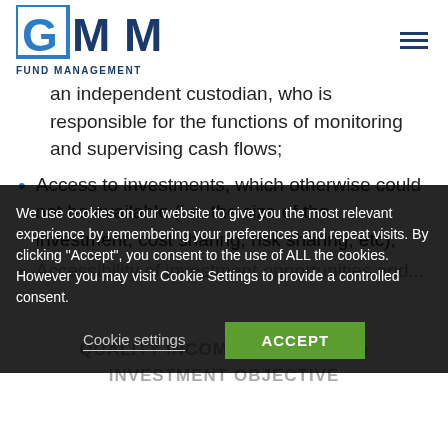GMM Fund Management
an independent custodian, who is responsible for the functions of monitoring and supervising cash flows;
Access to investments, which otherwise could not be available (i.e. the size of the investment, cost sharing, risk sharing, etc);
Accessibility of investment opportunities and...
We use cookies on our website to give you the most relevant experience by remembering your preferences and repeat visits. By clicking "Accept", you consent to the use of ALL the cookies. However you may visit Cookie Settings to provide a controlled consent.
QUALITY INCOME RETAIL FUND
INVESTMENT OBJECTIVE